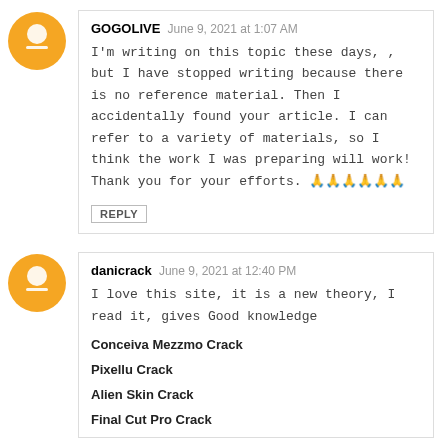GOGOLIVE  June 9, 2021 at 1:07 AM
I'm writing on this topic these days, , but I have stopped writing because there is no reference material. Then I accidentally found your article. I can refer to a variety of materials, so I think the work I was preparing will work! Thank you for your efforts. 🙏🙏🙏🙏🙏🙏
REPLY
danicrack  June 9, 2021 at 12:40 PM
I love this site, it is a new theory, I read it, gives Good knowledge

Conceiva Mezzmo Crack

Pixellu Crack

Alien Skin Crack

Final Cut Pro Crack